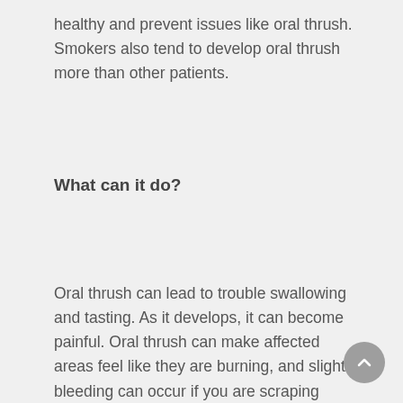healthy and prevent issues like oral thrush. Smokers also tend to develop oral thrush more than other patients.
What can it do?
Oral thrush can lead to trouble swallowing and tasting. As it develops, it can become painful. Oral thrush can make affected areas feel like they are burning, and slight bleeding can occur if you are scraping